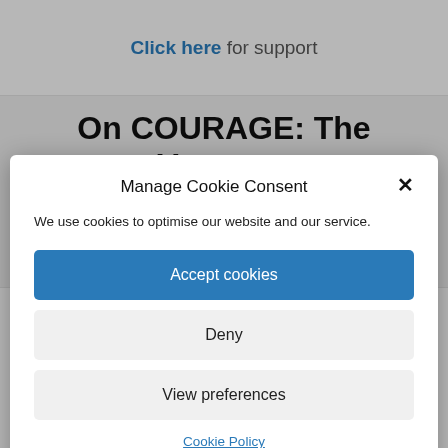Click here for support
On COURAGE: The Veterans
Manage Cookie Consent
We use cookies to optimise our website and our service.
Accept cookies
Deny
View preferences
Cookie Policy
Centre
Click the links below to see timetables of